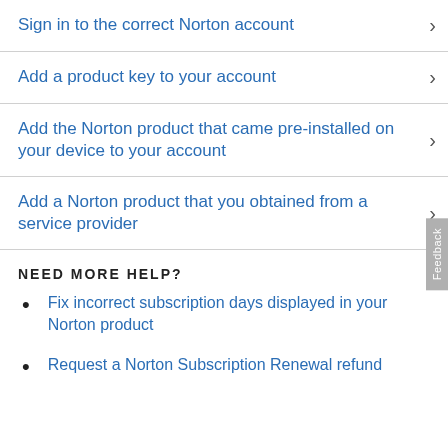Sign in to the correct Norton account
Add a product key to your account
Add the Norton product that came pre-installed on your device to your account
Add a Norton product that you obtained from a service provider
NEED MORE HELP?
Fix incorrect subscription days displayed in your Norton product
Request a Norton Subscription Renewal refund